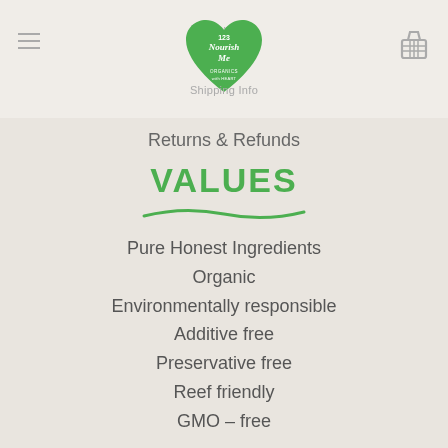123 Nourish Me – Organics with Heart
Privacy Policy
Shipping Info
Returns & Refunds
VALUES
Pure Honest Ingredients
Organic
Environmentally responsible
Additive free
Preservative free
Reef friendly
GMO – free
CONTACT